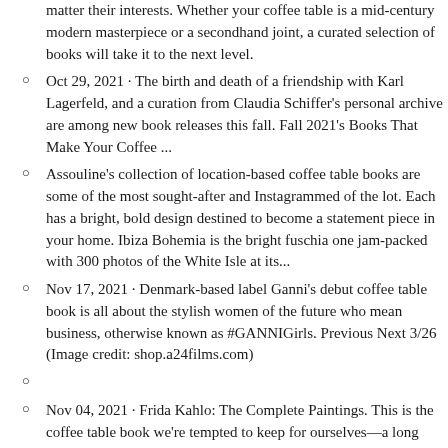matter their interests. Whether your coffee table is a mid-century modern masterpiece or a secondhand joint, a curated selection of books will take it to the next level.
Oct 29, 2021 · The birth and death of a friendship with Karl Lagerfeld, and a curation from Claudia Schiffer's personal archive are among new book releases this fall. Fall 2021's Books That Make Your Coffee ...
Assouline's collection of location-based coffee table books are some of the most sought-after and Instagrammed of the lot. Each has a bright, bold design destined to become a statement piece in your home. Ibiza Bohemia is the bright fuschia one jam-packed with 300 photos of the White Isle at its...
Nov 17, 2021 · Denmark-based label Ganni's debut coffee table book is all about the stylish women of the future who mean business, otherwise known as #GANNIGirls. Previous Next 3/26 (Image credit: shop.a24films.com)
Nov 04, 2021 · Frida Kahlo: The Complete Paintings. This is the coffee table book we're tempted to keep for ourselves—a long overdue retrospective, this door-stopping volume brings together all 152 of Kahlo ...
2021 Gift Guide - Coffee Table Books By Bel Canto